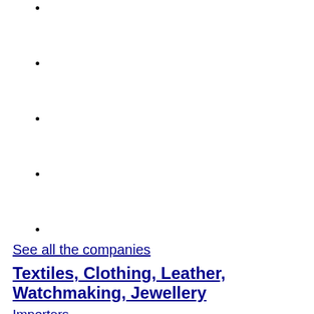See all the companies
Textiles, Clothing, Leather, Watchmaking, Jewellery
Importers
Exporters
Service providers
Producer
Distributor
Clothing and footwear
Leathers, furs and their products
Precious stoneworking, watchmaking and jewellery
Textile, clothing, leather and shoemaking machinery and